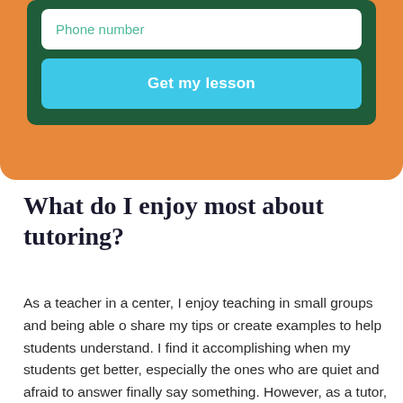[Figure (screenshot): Form widget with dark green background containing a phone number input field and a cyan 'Get my lesson' button, all within an orange rounded container.]
What do I enjoy most about tutoring?
As a teacher in a center, I enjoy teaching in small groups and being able o share my tips or create examples to help students understand. I find it accomplishing when my students get better, especially the ones who are quiet and afraid to answer finally say something. However, as a tutor, I would love to focus on the individuals' weaknesses or teach them new concepts. Because at this moment I need